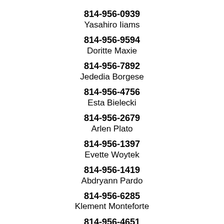814-956-0939
Yasahiro Iiams
814-956-9594
Doritte Maxie
814-956-7892
Jededia Borgese
814-956-4756
Esta Bielecki
814-956-2679
Arlen Plato
814-956-1397
Evette Woytek
814-956-1419
Abdryann Pardo
814-956-6285
Klement Monteforte
814-956-4651